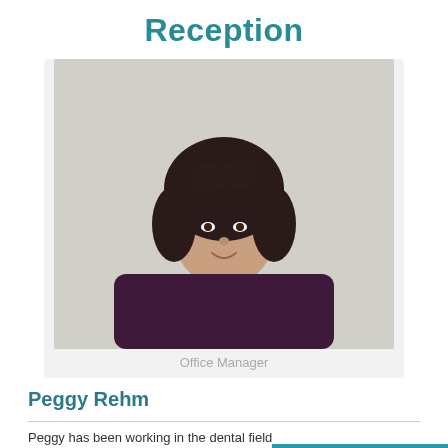Reception
[Figure (photo): Portrait photo of Peggy Rehm, a woman with dark curly hair wearing a dark purple long-sleeve top, smiling, standing against a light gray background.]
Office Manager
Peggy Rehm
Peggy has been working in the dental field for o been living in this community for 25 years. She
631-589-8585